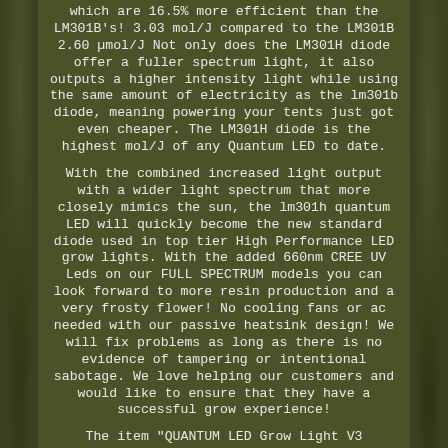which are 16.5% more efficient than the LM301B's! 3.03 mol/J compared to the LM301B 2.60 µmol/J Not only does the LM301H diode offer a fuller spectrum light, it also outputs a higher intensity light while using the same amount of electricity as the lm301b diode, meaning powering your tents just got even cheaper. The LM301H diode is the highest mol/J of any Quantum LED to date.
With the combined increased light output with a wider light spectrum that more closely mimics the sun, the lm301h quantum LED will quickly become the new standard diode used in top tier High Performance LED grow lights. With the added 660nm CREE UV Leds on our FULL SPECTRUM models you can look forward to more resin production and a very frosty flower! No cooling fans or ac needed with our passive heatsink design! We will fix problems as long as there is no evidence of tampering or intentional sabotage. We love helping our customers and would like to ensure that they have a successful grow experience!
The item "QUANTUM LED Grow Light V3